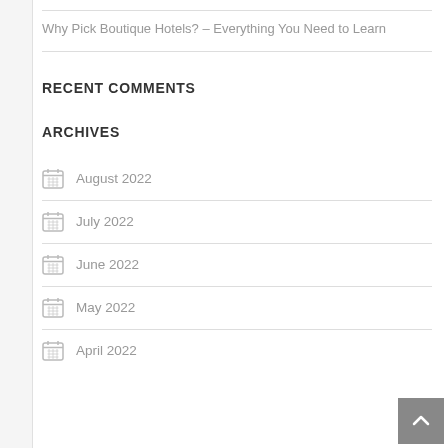Why Pick Boutique Hotels? – Everything You Need to Learn
RECENT COMMENTS
ARCHIVES
August 2022
July 2022
June 2022
May 2022
April 2022